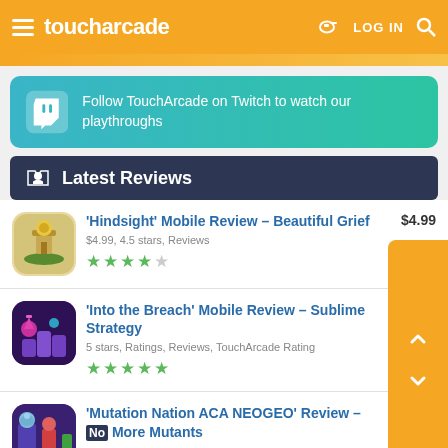toucharcade — LOG IN
[Figure (infographic): Twitch banner: Follow TouchArcade on Twitch to watch our playthroughs]
Latest Reviews
'Hindsight' Mobile Review – Beautiful Grief — $4.99, 4.5 stars, Reviews — $4.99 — 4.5 stars
'Into the Breach' Mobile Review – Sublime Strategy — 5 stars, Ratings, Reviews, TouchArcade Rating — Free
'Mutation Nation ACA NEOGEO' Review – No More Mutants — $3.99